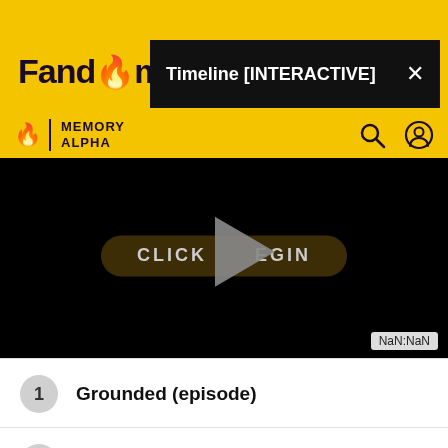Fandom | Memory Alpha — Timeline [INTERACTIVE]
[Figure (screenshot): Video player with black background showing a play button and a 'CLICK TO BEGIN' button overlay. Bottom right shows 'NaN:NaN' timestamp.]
1  Grounded (episode)
2  Star Trek: Strange New Worlds